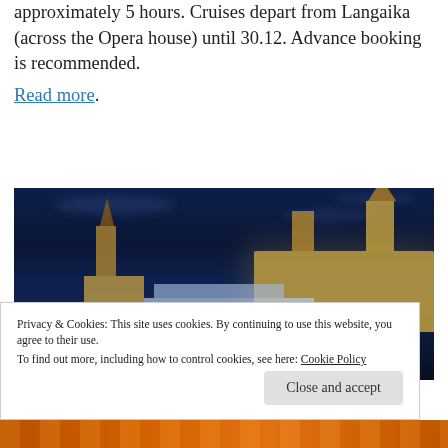approximately 5 hours. Cruises depart from Langaika (across the Opera house) until 30.12. Advance booking is recommended. Read more.
[Figure (photo): Night photograph of Oslo waterfront showing a cruise ship on dark water with illuminated Akershus Fortress and city buildings in the background, under a deep blue night sky.]
Privacy & Cookies: This site uses cookies. By continuing to use this website, you agree to their use.
To find out more, including how to control cookies, see here: Cookie Policy
Close and accept